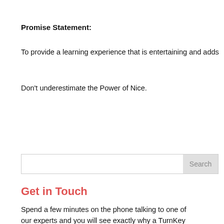Promise Statement:
To provide a learning experience that is entertaining and adds
Don't underestimate the Power of Nice.
Search
Get in Touch
Spend a few minutes on the phone talking to one of our experts and you will see exactly why a TurnKey